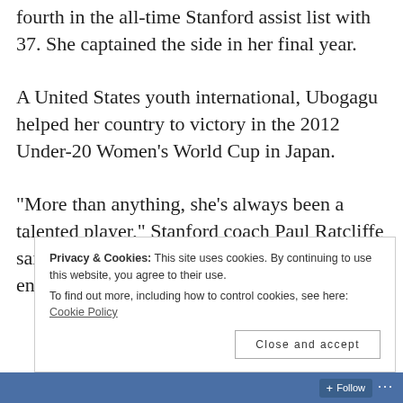fourth in the all-time Stanford assist list with 37. She captained the side in her final year.
A United States youth international, Ubogagu helped her country to victory in the 2012 Under-20 Women's World Cup in Japan.
“More than anything, she’s always been a talented player,” Stanford coach Paul Ratcliffe said. “But this year, her leadership of the entire team has been incredible. She’s really
Privacy & Cookies: This site uses cookies. By continuing to use this website, you agree to their use.
To find out more, including how to control cookies, see here: Cookie Policy
Close and accept
Follow